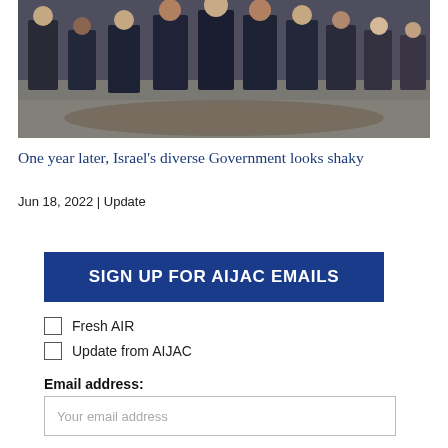[Figure (photo): Group photo of people seated and standing in a formal setting, some in suits]
One year later, Israel's diverse Government looks shaky
Jun 18, 2022 | Update
SIGN UP FOR AIJAC EMAILS
Fresh AIR
Update from AIJAC
Email address:
Your email address